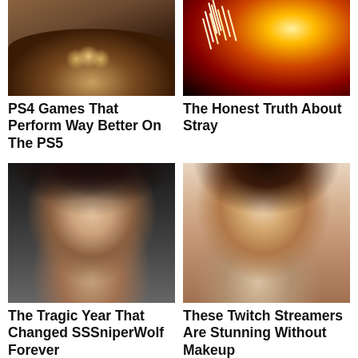[Figure (photo): Game screenshot showing a monster/creature with open mouth with sharp teeth, dark fantasy dungeon setting - PS4/PS5 game thumbnail]
PS4 Games That Perform Way Better On The PS5
[Figure (photo): Dark red image with bright light streaks/sparks - Stray game promotional image featuring orange/red glowing light]
The Honest Truth About Stray
[Figure (photo): Young woman with dark hair, round black glasses and a choker necklace - SSSniperwolf]
The Tragic Year That Changed SSSniperWolf Forever
[Figure (photo): Young woman with dark hair and bangs, heavy makeup with rosy cheeks and freckles, wearing a choker - Twitch streamer]
These Twitch Streamers Are Stunning Without Makeup